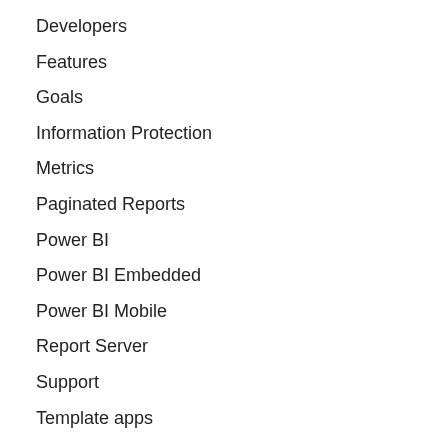Developers
Features
Goals
Information Protection
Metrics
Paginated Reports
Power BI
Power BI Embedded
Power BI Mobile
Report Server
Support
Template apps
ARTIKEL NACH DATUM